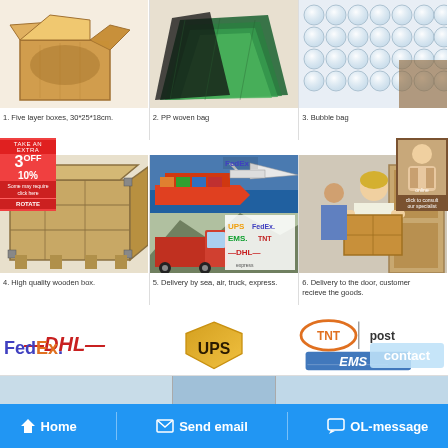[Figure (photo): Cardboard box open - Five layer boxes, 30*25*18cm]
[Figure (photo): Green PP woven bags]
[Figure (photo): Bubble wrap / bubble bag]
1. Five layer boxes, 30*25*18cm.
2. PP woven bag
3. Bubble bag
[Figure (photo): High quality wooden box with metal corners]
[Figure (photo): Delivery by sea, air, truck, express - shipping collage with UPS FedEx EMS TNT DHL logos]
[Figure (photo): Delivery to the door, customer receiving goods]
4. High quality wooden box.
5. Delivery by sea, air, truck, express.
6. Delivery to the door, customer recieve the goods.
[Figure (logo): Shipping carrier logos: DHL, FedEx, UPS, TNT post, EMS]
contact
Home
Send email
OL-message